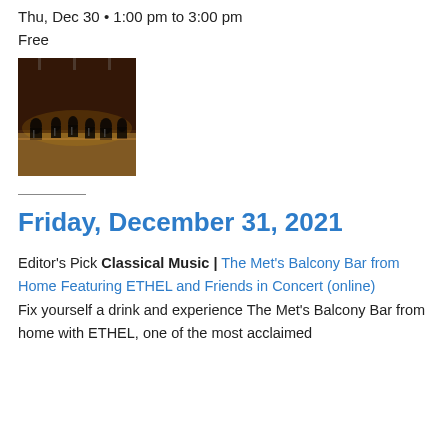Thu, Dec 30 • 1:00 pm to 3:00 pm
Free
[Figure (photo): Orchestra on a concert stage, dark background with warm wood floor, musicians seated with instruments]
Friday, December 31, 2021
Editor's Pick Classical Music | The Met's Balcony Bar from Home Featuring ETHEL and Friends in Concert (online)
Fix yourself a drink and experience The Met's Balcony Bar from home with ETHEL, one of the most acclaimed